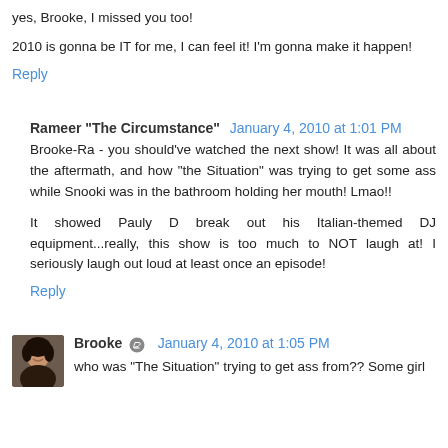yes, Brooke, I missed you too!
2010 is gonna be IT for me, I can feel it! I'm gonna make it happen!
Reply
Rameer "The Circumstance" January 4, 2010 at 1:01 PM
Brooke-Ra - you should've watched the next show! It was all about the aftermath, and how "the Situation" was trying to get some ass while Snooki was in the bathroom holding her mouth! Lmao!!
It showed Pauly D break out his Italian-themed DJ equipment...really, this show is too much to NOT laugh at! I seriously laugh out loud at least once an episode!
Reply
Brooke January 4, 2010 at 1:05 PM
who was "The Situation" trying to get ass from?? Some girl